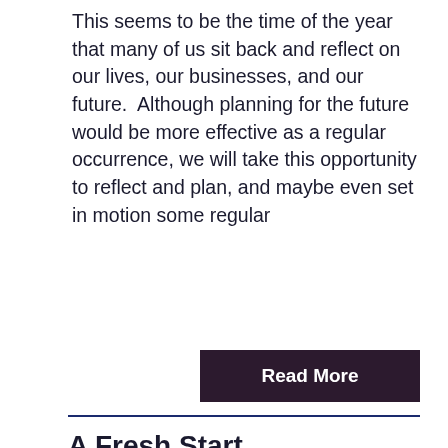This seems to be the time of the year that many of us sit back and reflect on our lives, our businesses, and our future.  Although planning for the future would be more effective as a regular occurrence, we will take this opportunity to reflect and plan, and maybe even set in motion some regular
Read More
A Fresh Start
It's all over the news - has been and continues to be - things are slowing down.  So what does that mean?  Does it mean that you